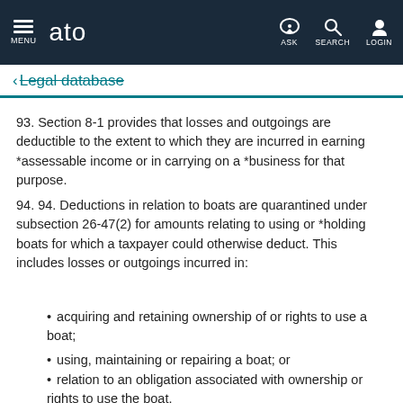MENU  ato  ASK  SEARCH  LOGIN
← Legal database
93. Section 8-1 provides that losses and outgoings are deductible to the extent to which they are incurred in earning *assessable income or in carrying on a *business for that purpose.
94. 94. Deductions in relation to boats are quarantined under subsection 26-47(2) for amounts relating to using or *holding boats for which a taxpayer could otherwise deduct. This includes losses or outgoings incurred in:
acquiring and retaining ownership of or rights to use a boat;
using, maintaining or repairing a boat; or
relation to an obligation associated with ownership or rights to use the boat.